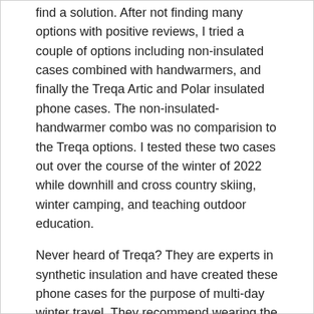find a solution. After not finding many options with positive reviews, I tried a couple of options including non-insulated cases combined with handwarmers, and finally the Treqa Artic and Polar insulated phone cases. The non-insulated-handwarmer combo was no comparision to the Treqa options. I tested these two cases out over the course of the winter of 2022 while downhill and cross country skiing, winter camping, and teaching outdoor education.
Never heard of Treqa? They are experts in synthetic insulation and have created these phone cases for the purpose of multi-day winter travel. They recommend wearing the phone case in an inner pocket but I tested the cases out in the inner, outer and also hanging off my pack chest strap.
Treqa Arctic Insulated Phone Case
Size: 3.5" x 7.25" (Fits all iPhones and most Android/Samsung Phones)
Colour: Navy, Indigo, Yellow, Sky Blue, Orange, Slate Blue
Price: $24.99 CAD
Treqa Polar Insulated Phone Case